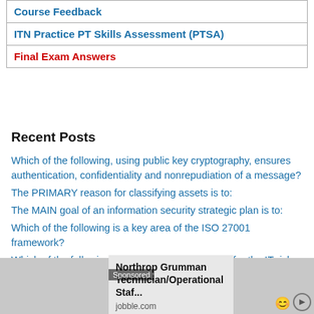| Course Feedback |
| ITN Practice PT Skills Assessment (PTSA) |
| Final Exam Answers |
Recent Posts
Which of the following, using public key cryptography, ensures authentication, confidentiality and nonrepudiation of a message?
The PRIMARY reason for classifying assets is to:
The MAIN goal of an information security strategic plan is to:
Which of the following is a key area of the ISO 27001 framework?
Which of the following would be the BEST metric for the IT risk management process?
[Figure (other): Advertisement banner for Northrop Grumman Technician/Operational Staf... on jobble.com, labeled Sponsored]